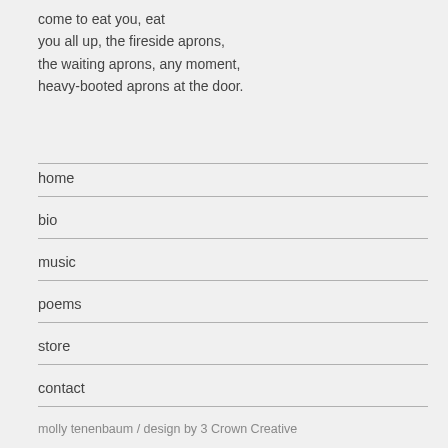come to eat you, eat
you all up, the fireside aprons,
the waiting aprons, any moment,
heavy-booted aprons at the door.
home
bio
music
poems
store
contact
molly tenenbaum  /  design by 3 Crown Creative